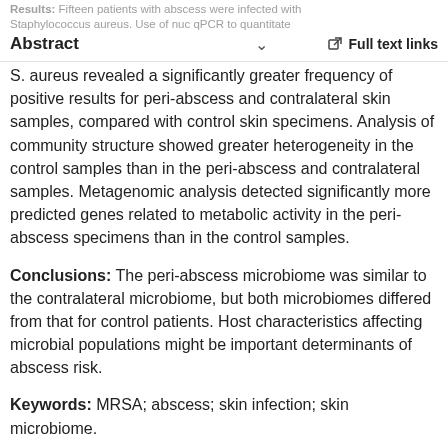Results: Fifteen patients with abscess were infected with Staphylococcus aureus. Use of nuc qPCR to quantitate
Abstract   ∨   Full text links
S. aureus revealed a significantly greater frequency of positive results for peri-abscess and contralateral skin samples, compared with control skin specimens. Analysis of community structure showed greater heterogeneity in the control samples than in the peri-abscess and contralateral samples. Metagenomic analysis detected significantly more predicted genes related to metabolic activity in the peri-abscess specimens than in the control samples.
Conclusions: The peri-abscess microbiome was similar to the contralateral microbiome, but both microbiomes differed from that for control patients. Host characteristics affecting microbial populations might be important determinants of abscess risk.
Keywords: MRSA; abscess; skin infection; skin microbiome.